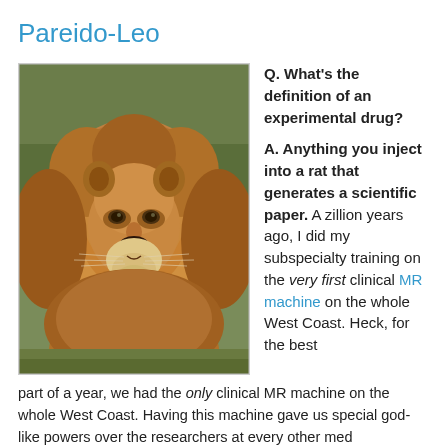Pareido-Leo
[Figure (photo): Close-up photograph of a male lion with a large brown mane, looking directly at the camera, with green foliage in the background.]
Q. What's the definition of an experimental drug?

A. Anything you inject into a rat that generates a scientific paper. A zillion years ago, I did my subspecialty training on the very first clinical MR machine on the whole West Coast. Heck, for the best part of a year, we had the only clinical MR machine on the whole West Coast. Having this machine gave us special god-like powers over the researchers at every other med